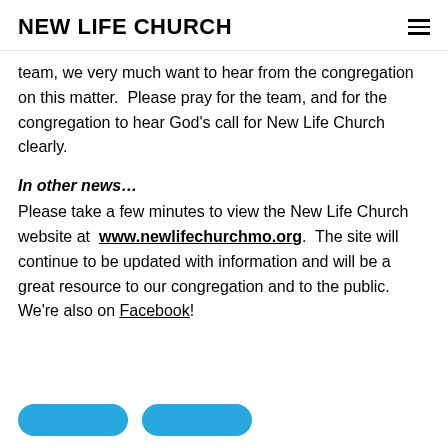NEW LIFE CHURCH
team, we very much want to hear from the congregation on this matter.  Please pray for the team, and for the congregation to hear God's call for New Life Church clearly.
In other news…
Please take a few minutes to view the New Life Church website at www.newlifechurchmo.org.  The site will continue to be updated with information and will be a great resource to our congregation and to the public. We're also on Facebook!